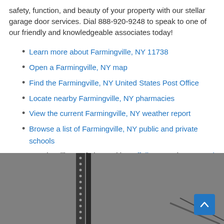safety, function, and beauty of your property with our stellar garage door services. Dial 888-920-9248 to speak to one of our friendly and knowledgeable associates today!
Learn more about Farmingville, NY 11738
Open a Farmingville, NY map
Find the Farmingville, NY United States Post Office
Locate nearby Farmingville, NY pharmacies
View the current Farmingville, NY weather report
Browse a list of Farmingville, NY public and private schools
Farmingville, NY is located in Suffolk county in New York State
[Figure (photo): Bottom section showing garage door/track components against a gray background, with a blue back-to-top arrow button in the bottom right corner.]